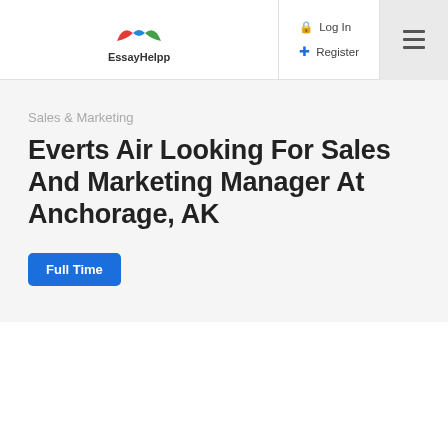EssayHelpp | Log In | Register
Sales & Marketing
Everts Air Looking For Sales And Marketing Manager At Anchorage, AK
Full Time